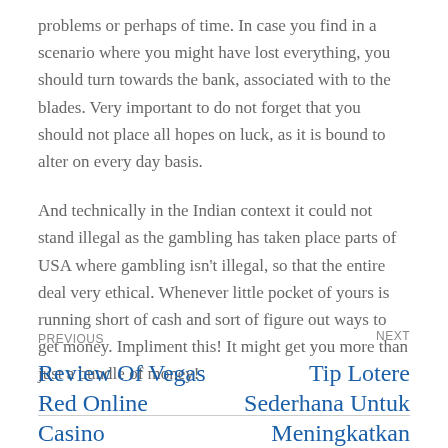problems or perhaps of time. In case you find in a scenario where you might have lost everything, you should turn towards the bank, associated with to the blades. Very important to do not forget that you should not place all hopes on luck, as it is bound to alter on every day basis.
And technically in the Indian context it could not stand illegal as the gambling has taken place parts of USA where gambling isn't illegal, so that the entire deal very ethical. Whenever little pocket of yours is running short of cash and sort of figure out ways to get money. Impliment this! It might get you more than just a bundle of money!
PREVIOUS — Review Of Vegas Red Online Casino | NEXT — Tip Lotere Sederhana Untuk Meningkatkan